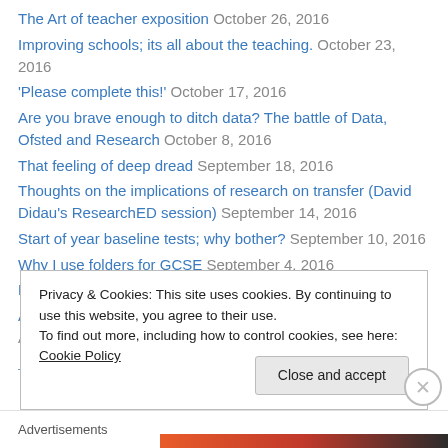The Art of teacher exposition  October 26, 2016
Improving schools; its all about the teaching.  October 23, 2016
‘Please complete this!’  October 17, 2016
Are you brave enough to ditch data? The battle of Data, Ofsted and Research  October 8, 2016
That feeling of deep dread  September 18, 2016
Thoughts on the implications of research on transfer (David Didau’s ResearchED session)  September 14, 2016
Start of year baseline tests; why bother?  September 10, 2016
Why I use folders for GCSE  September 4, 2016
Must do better  September 3, 2016
And the results are in….. Reflections on two years of GCSE  August 30, 2016
Privacy & Cookies: This site uses cookies. By continuing to use this website, you agree to their use. To find out more, including how to control cookies, see here: Cookie Policy
Advertisements